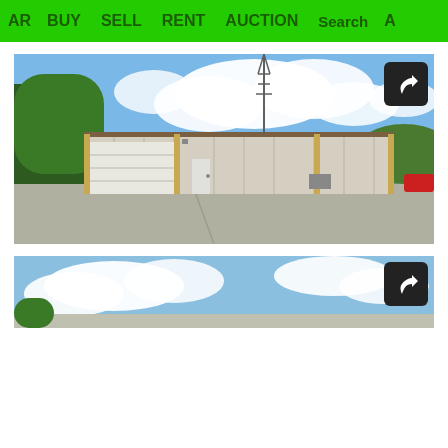AR  BUY  SELL  RENT  AUCTION  Search  A
[Figure (photo): Exterior photo of a large metal warehouse building with roll-up garage door, white man door, concrete parking lot, trees and radio tower in background, blue sky with clouds.]
[Figure (photo): Partial exterior photo of a building or sky — second image partially visible at bottom of page.]